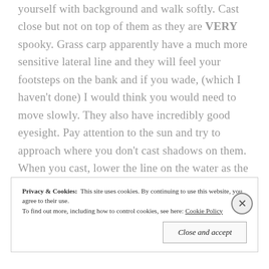yourself with background and walk softly. Cast close but not on top of them as they are VERY spooky. Grass carp apparently have a much more sensitive lateral line and they will feel your footsteps on the bank and if you wade, (which I haven't done) I would think you would need to move slowly. They also have incredibly good eyesight. Pay attention to the sun and try to approach where you don't cast shadows on them. When you cast, lower the line on the water as the loop unrolls so that your fly lands last. Very spooky fish, which makes it very much fun! It's my kinda thing, like redfish, but actually much harder, at least the ones I have access to are.
Privacy & Cookies: This site uses cookies. By continuing to use this website, you agree to their use. To find out more, including how to control cookies, see here: Cookie Policy
Close and accept